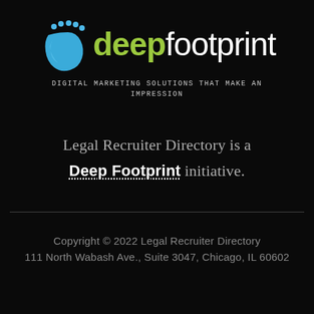[Figure (logo): Deep Footprint logo: a blue foot icon with toes as dots on the left, and the text 'deep' in green bold and 'footprint' in white regular, large sans-serif font.]
DIGITAL MARKETING SOLUTIONS THAT MAKE AN IMPRESSION
Legal Recruiter Directory is a Deep Footprint initiative.
Copyright © 2022 Legal Recruiter Directory
111 North Wabash Ave., Suite 3047, Chicago, IL 60602